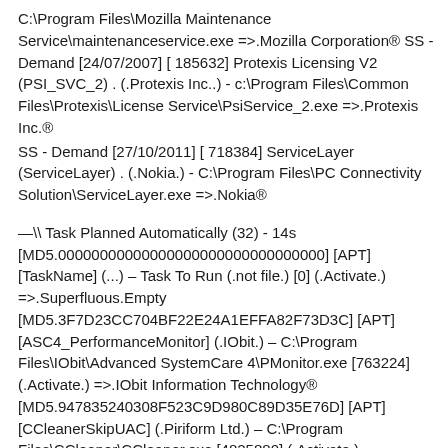C:\Program Files\Mozilla Maintenance Service\maintenanceservice.exe =>.Mozilla Corporation® SS - Demand [24/07/2007] [ 185632] Protexis Licensing V2 (PSI_SVC_2) . (.Protexis Inc..) - c:\Program Files\Common Files\Protexis\License Service\PsiService_2.exe =>.Protexis Inc.®
SS - Demand [27/10/2011] [ 718384] ServiceLayer (ServiceLayer) . (.Nokia.) - C:\Program Files\PC Connectivity Solution\ServiceLayer.exe =>.Nokia®
—\\ Task Planned Automatically (32) - 14s [MD5.00000000000000000000000000000000] [APT] [TaskName] (...) – Task To Run (.not file.) [0] (.Activate.) =>.Superfluous.Empty [MD5.3F7D23CC704BF22E24A1EFFA82F73D3C] [APT] [ASC4_PerformanceMonitor] (.IObit.) – C:\Program Files\IObit\Advanced SystemCare 4\PMonitor.exe [763224] (.Activate.) =>.IObit Information Technology® [MD5.947835240308F523C9D980C89D35E76D] [APT] [CCleanerSkipUAC] (.Piriform Ltd.) – C:\Program Files\CCleaner\CCleaner.exe [4825880] (.Activate.) => Piriform Ltd®